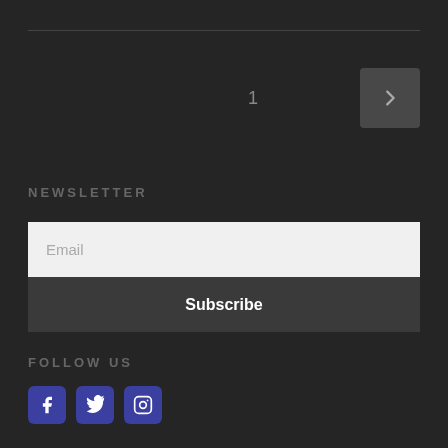1
[Figure (infographic): Pagination: number 1 with a next arrow button (→) on dark background]
NEWSLETTER
Email
Subscribe
FOLLOW US
[Figure (other): Social media icons: Facebook, Twitter, Instagram]